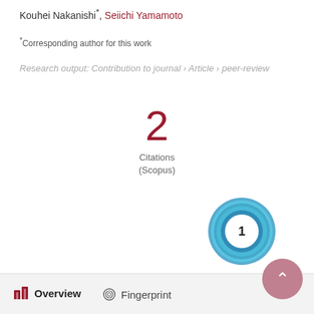Kouhei Nakanishi*, Seiichi Yamamoto
*Corresponding author for this work
Research output: Contribution to journal › Article › peer-review
[Figure (infographic): Citation count badge showing '2 Citations (Scopus)']
[Figure (donut-chart): Altmetric donut badge with value 1 in center, teal/blue gradient ring]
Overview
Fingerprint